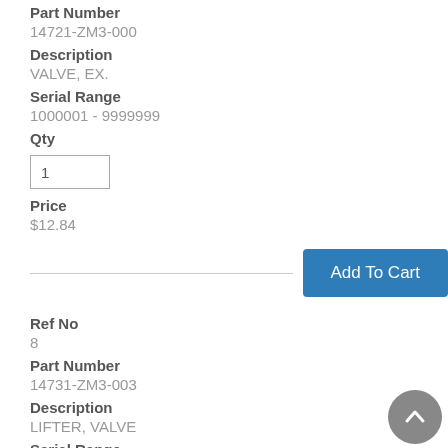Part Number
14721-ZM3-000
Description
VALVE, EX.
Serial Range
1000001 - 9999999
Qty
1
Price
$12.84
Add To Cart
Ref No
8
Part Number
14731-ZM3-003
Description
LIFTER, VALVE
Serial Range
1000001 - 9999999